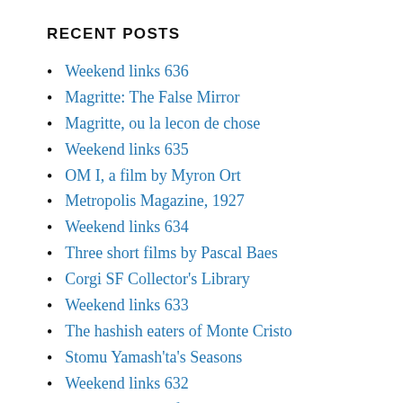RECENT POSTS
Weekend links 636
Magritte: The False Mirror
Magritte, ou la lecon de chose
Weekend links 635
OM I, a film by Myron Ort
Metropolis Magazine, 1927
Weekend links 634
Three short films by Pascal Baes
Corgi SF Collector's Library
Weekend links 633
The hashish eaters of Monte Cristo
Stomu Yamash'ta's Seasons
Weekend links 632
The Liberation of Mannique Mechanique